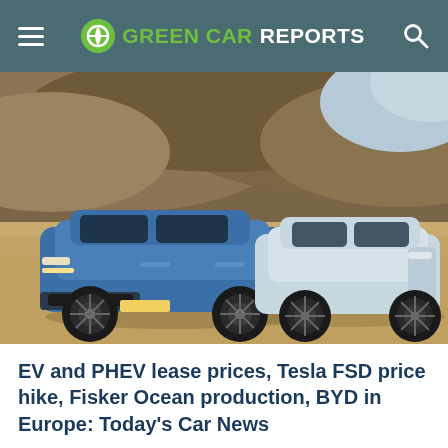GREEN CAR REPORTS
[Figure (photo): Two electric SUVs parked on a desert sandy terrain with rocky hills in the background. A blue SUV on the left and a light gray/white SUV on the right, both modern electric vehicle designs.]
EV and PHEV lease prices, Tesla FSD price hike, Fisker Ocean production, BYD in Europe: Today's Car News